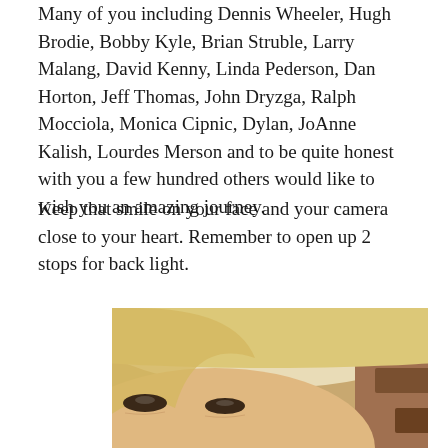Many of you including Dennis Wheeler, Hugh Brodie, Bobby Kyle, Brian Struble, Larry Malang, David Kenny, Linda Pederson, Dan Horton, Jeff Thomas, John Dryzga, Ralph Mocciola, Monica Cipnic, Dylan, JoAnne Kalish, Lourdes Merson and to be quite honest with you a few hundred others would like to wish you an amazing journey.
Keep that smile on your face and your camera close to your heart. Remember to open up 2 stops for back light.
[Figure (photo): Close-up portrait photograph of a blonde woman with light-colored hair, smiling, photographed with a soft blurred background that appears to be a brick wall. The photo is cropped at the top of the frame showing mainly her hair and upper face with eyes visible.]